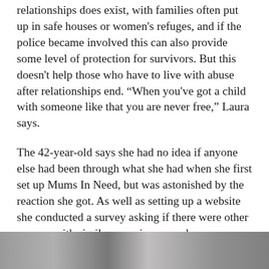relationships does exist, with families often put up in safe houses or women's refuges, and if the police became involved this can also provide some level of protection for survivors. But this doesn't help those who have to live with abuse after relationships end. “When you've got a child with someone like that you are never free,” Laura says.
The 42-year-old says she had no idea if anyone else had been through what she had when she first set up Mums In Need, but was astonished by the reaction she got. As well as setting up a website she conducted a survey asking if there were other women with similar experiences and was inundated with responses.
[Figure (photo): A partial photograph visible at the bottom of the page, showing indistinct dark and light tones.]